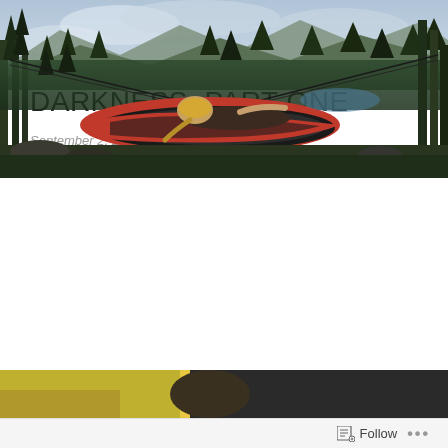[Figure (photo): Person lying in a red and black hammock strung between trees, looking out over a forested mountain landscape with a lake in the background under a cloudy sky.]
FOR BETTER REST, CREATE YOUR OWN DARKNESS. PART ONE
September 2, 2020   Leave a comment
Photo by Zach Betten on Unsplash
[Figure (photo): Partial view of a second article's hero image, mostly cut off at the bottom of the page.]
Follow